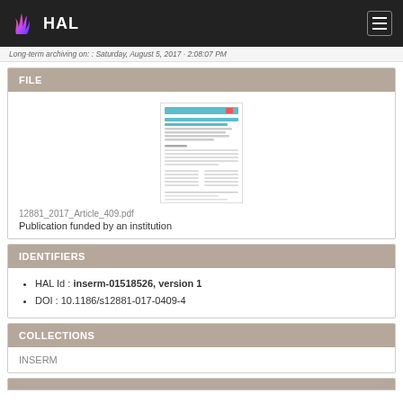HAL
Long-term archiving on: : Saturday, August 5, 2017 · 2:08:07 PM
FILE
[Figure (screenshot): Thumbnail preview of PDF article 12881_2017_Article_409.pdf]
12881_2017_Article_409.pdf
Publication funded by an institution
IDENTIFIERS
HAL Id : inserm-01518526, version 1
DOI : 10.1186/s12881-017-0409-4
COLLECTIONS
INSERM